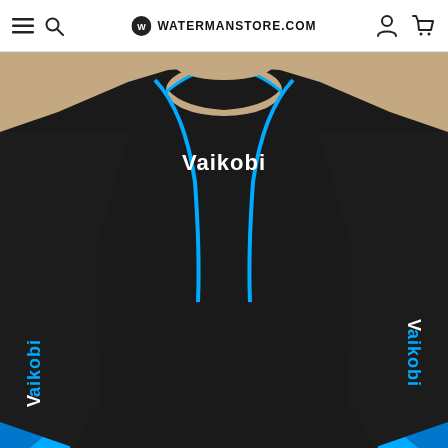WATERMANSTORE.COM
[Figure (photo): Product photo of a Vaikobi long-sleeve rash guard / compression shirt in black with bright blue accent stripes along the sides and raglan seams, and white Vaikobi logo text on chest and sleeves. Worn by a male model, cropped at chest and waist.]